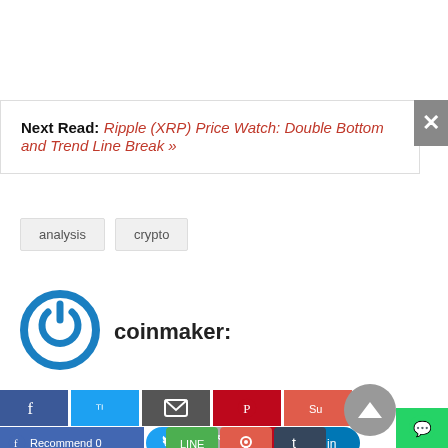Next Read: Ripple (XRP) Price Watch: Double Bottom and Trend Line Break »
analysis
crypto
coinmaker:
[Figure (logo): Coinmaker circular power-button style logo in blue]
[Figure (infographic): Social share buttons bar: Facebook Recommend 0, Twitter, Email, Pinterest, LinkedIn, Line, Reddit, Tumblr, WhatsApp]